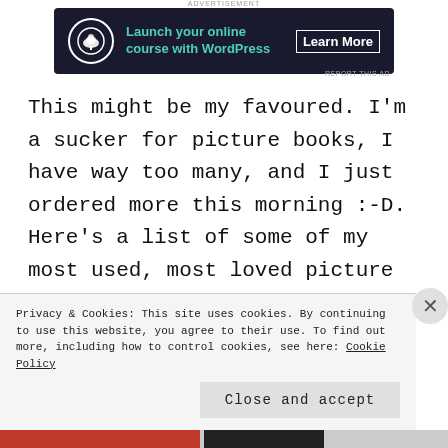[Figure (other): Advertisement banner: dark navy background with bonsai tree icon, teal text 'Launch your online course with WordPress', white 'Learn More' button]
This might be my favoured. I'm a sucker for picture books, I have way too many, and I just ordered more this morning :-D. Here's a list of some of my most used, most loved picture books for ESL children's
Privacy & Cookies: This site uses cookies. By continuing to use this website, you agree to their use. To find out more, including how to control cookies, see here: Cookie Policy
Close and accept